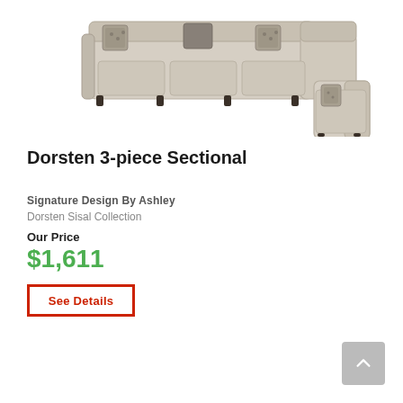[Figure (photo): Photo of a light beige/sisal colored L-shaped sectional sofa with decorative patterned pillows and dark wooden legs]
Dorsten 3-piece Sectional
Signature Design By Ashley
Dorsten Sisal Collection
Our Price
$1,611
See Details